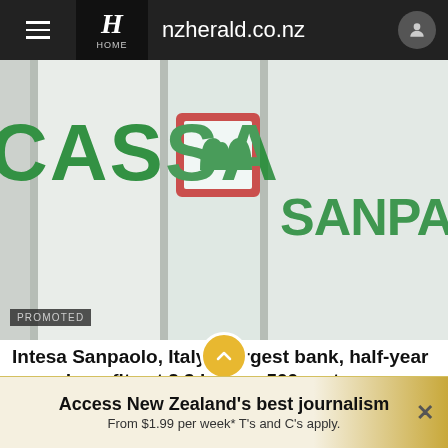nzherald.co.nz
[Figure (photo): Exterior photo of Intesa Sanpaolo bank building showing the bank's green signage and logo on a white facade]
PROMOTED
Intesa Sanpaolo, Italy's largest bank, half-year record, profits at 2.3 billion, 500eur to employees
World Medias
Access New Zealand's best journalism From $1.99 per week* T's and C's apply.